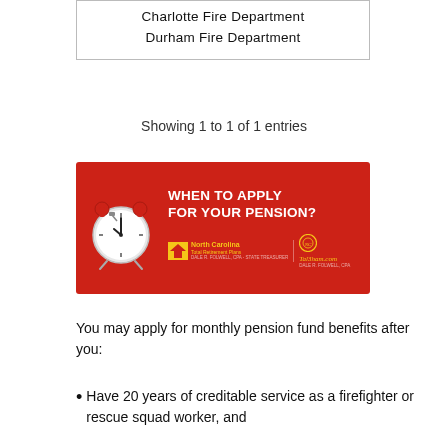| Charlotte Fire Department |
| Durham Fire Department |
Showing 1 to 1 of 1 entries
[Figure (infographic): Red banner advertisement for 'When to Apply for Your Pension?' featuring a red alarm clock on the left, bold white text in the center, and North Carolina Total Retirement Plans logo with a second logo on the right side.]
You may apply for monthly pension fund benefits after you:
Have 20 years of creditable service as a firefighter or rescue squad worker, and